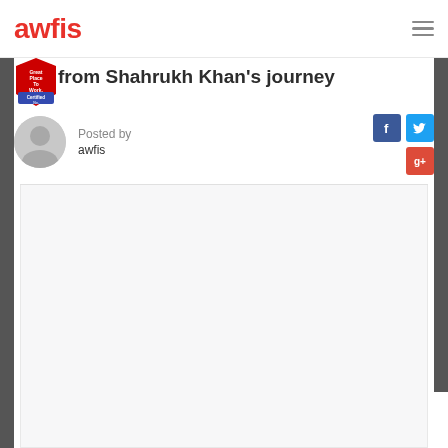awfis
from Shahrukh Khan's journey
Posted by
awfis
[Figure (logo): Great Place To Work Certified badge (red shield/banner shape)]
[Figure (photo): Grey avatar/profile placeholder icon (circle with person silhouette)]
[Figure (illustration): Social share buttons: Facebook (blue), Twitter (light blue), Google Plus (red)]